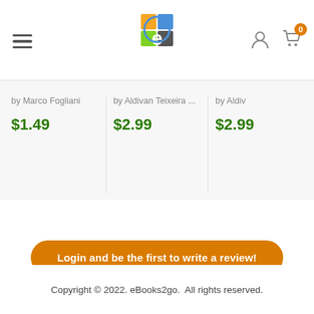eBooks2go navigation header with logo, menu, account, and cart icons
by Marco Fogliani
$1.49
by Aldivan Teixeira...
$2.99
by Aldiv
$2.99
Login and be the first to write a review!
Copyright © 2022. eBooks2go.  All rights reserved.